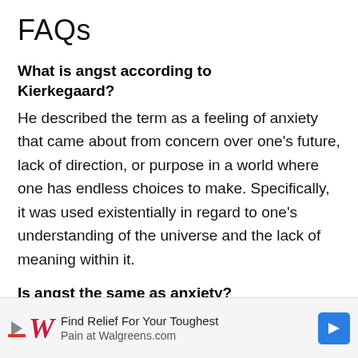FAQs
What is angst according to Kierkegaard?
He described the term as a feeling of anxiety that came about from concern over one’s future, lack of direction, or purpose in a world where one has endless choices to make. Specifically, it was used existentially in regard to one’s understanding of the universe and the lack of meaning within it.
Is angst the same as anxiety?
Angst is a specific type of anxiety that was traditionally...
[Figure (other): Advertisement banner for Walgreens: 'Find Relief For Your Toughest Pain at Walgreens.com' with Walgreens logo and a blue arrow/navigation icon.]